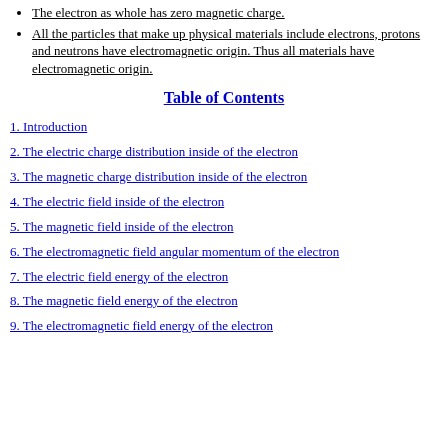The electron as whole has zero magnetic charge.
All the particles that make up physical materials include electrons, protons and neutrons have electromagnetic origin. Thus all materials have electromagnetic origin.
Table of Contents
1. Introduction
2. The electric charge distribution inside of the electron
3. The magnetic charge distribution inside of the electron
4. The electric field inside of the electron
5. The magnetic field inside of the electron
6. The electromagnetic field angular momentum of the electron
7. The electric field energy of the electron
8. The magnetic field energy of the electron
9. The electromagnetic field energy of the electron